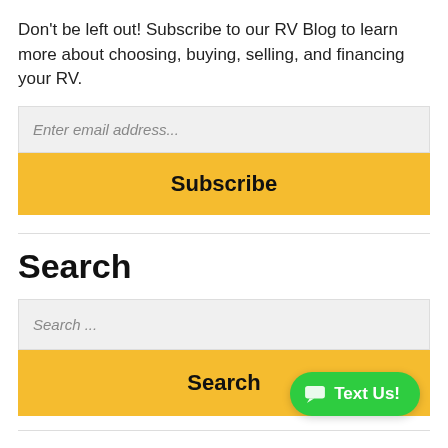Don't be left out! Subscribe to our RV Blog to learn more about choosing, buying, selling, and financing your RV.
[Figure (screenshot): Email input field with placeholder text 'Enter email address...' on a light gray background]
[Figure (screenshot): Yellow Subscribe button]
Search
[Figure (screenshot): Search input field with placeholder text 'Search ...' on a light gray background]
[Figure (screenshot): Yellow Search button with right arrow '>']
[Figure (screenshot): Green 'Text Us!' chat button in bottom right corner]